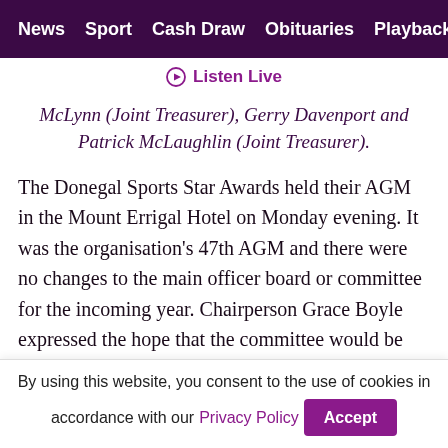News  Sport  Cash Draw  Obituaries  Playback  S
Listen Live
McLynn (Joint Treasurer), Gerry Davenport and Patrick McLaughlin (Joint Treasurer).
The Donegal Sports Star Awards held their AGM in the Mount Errigal Hotel on Monday evening. It was the organisation's 47th AGM and there were no changes to the main officer board or committee for the incoming year. Chairperson Grace Boyle expressed the hope that the committee would be able to host a live function for the first time in three
By using this website, you consent to the use of cookies in accordance with our Privacy Policy   Accept